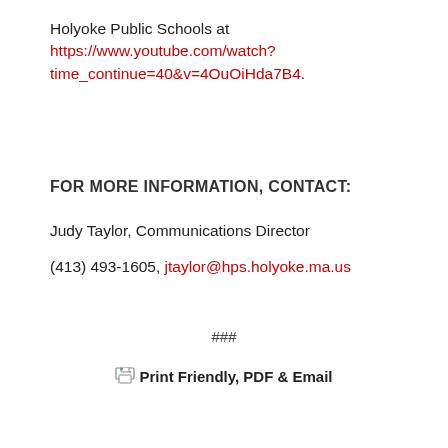Holyoke Public Schools at https://www.youtube.com/watch?time_continue=40&v=4OuOiHda7B4.
FOR MORE INFORMATION, CONTACT:
Judy Taylor, Communications Director
(413) 493-1605, jtaylor@hps.holyoke.ma.us
###
Print Friendly, PDF & Email